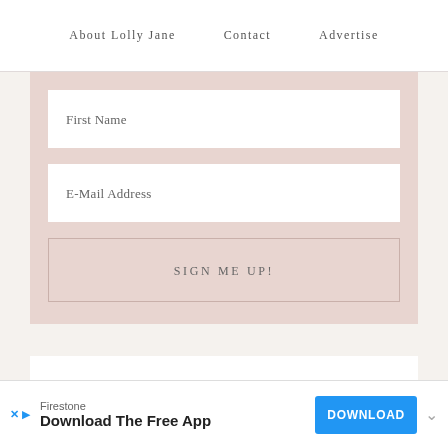About Lolly Jane   Contact   Advertise
[Figure (screenshot): A newsletter signup form with a dusty rose/pink background containing two white input fields labeled 'First Name' and 'E-Mail Address', and a 'SIGN ME UP!' button styled in the same rose color.]
Browse by Category
[Figure (screenshot): An advertisement bar at the bottom of the page showing Firestone branding with text 'Download The Free App', a blue DOWNLOAD button, and small X and play icons.]